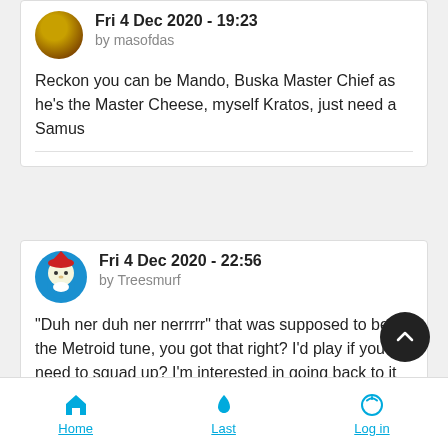Fri 4 Dec 2020 - 19:23 by masofdas
Reckon you can be Mando, Buska Master Chief as he's the Master Cheese, myself Kratos, just need a Samus
Fri 4 Dec 2020 - 22:56 by Treesmurf
"Duh ner duh ner nerrrrr" that was supposed to be the Metroid tune, you got that right? I'd play if you need to squad up? I'm interested in going back to it since I heard about Samus but all the other stuff with Star Wars, Marvel, etc is all very cool.
Home   Last   Log in